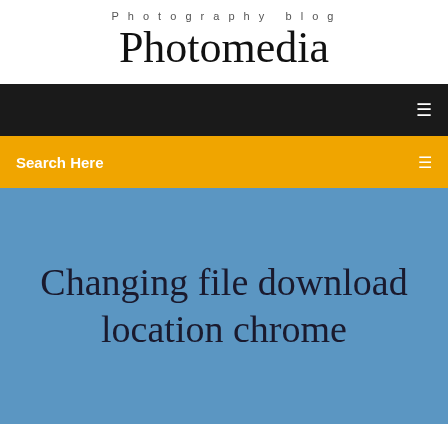Photography blog
Photomedia
[Figure (screenshot): Black navigation bar with white menu icon on right]
[Figure (screenshot): Orange/amber search bar with 'Search Here' text and search icon]
Changing file download location chrome